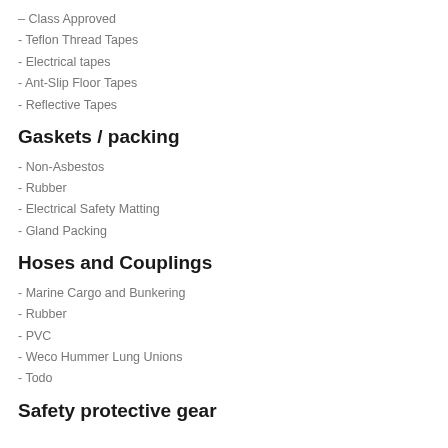– Class Approved
- Teflon Thread Tapes
- Electrical tapes
- Ant-Slip Floor Tapes
- Reflective Tapes
Gaskets / packing
- Non-Asbestos
- Rubber
- Electrical Safety Matting
- Gland Packing
Hoses and Couplings
- Marine Cargo and Bunkering
- Rubber
- PVC
- Weco Hummer Lung Unions
- Todo
Safety protective gear